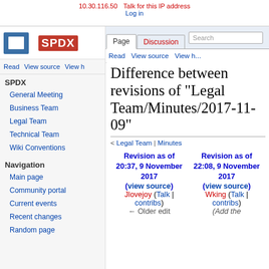10.30.116.50  Talk for this IP address  Log in
Difference between revisions of "Legal Team/Minutes/2017-11-09"
< Legal Team | Minutes
| Revision as of 20:37, 9 November 2017 (view source) | Revision as of 22:08, 9 November 2017 (view source) |
| --- | --- |
| Jlovejoy (Talk | contribs) | Wking (Talk | contribs) |
| ← Older edit | (Add the |
General Meeting
Business Team
Legal Team
Technical Team
Wiki Conventions
Main page
Community portal
Current events
Recent changes
Random page